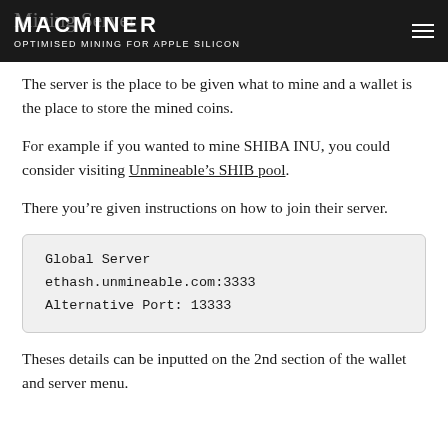MACMINER OPTIMISED MINING FOR APPLE SILICON
Mining Server
The server is the place to be given what to mine and a wallet is the place to store the mined coins.
For example if you wanted to mine SHIBA INU, you could consider visiting Unmineable’s SHIB pool.
There you’re given instructions on how to join their server.
Global Server
ethash.unmineable.com:3333
Alternative Port: 13333
Theses details can be inputted on the 2nd section of the wallet and server menu.